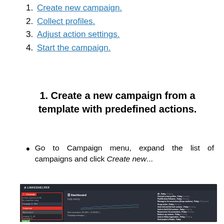1. Create new campaign.
2. Collect profiles.
3. Adjust action settings.
4. Start the campaign.
1. Create a new campaign from a template with predefined actions.
Go to Campaign menu, expand the list of campaigns and click Create new...
[Figure (screenshot): Screenshot of Linkedhelper dashboard showing Campaign menu expanded with 'Create new' option highlighted by a red border. Dashboard shows Daily activity chart and activity log on the right.]